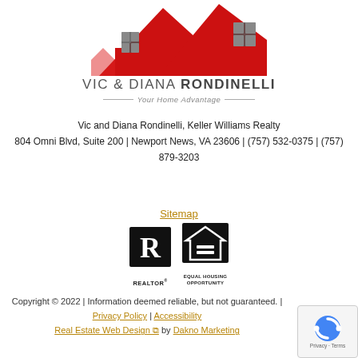[Figure (logo): Vic and Diana Rondinelli real estate logo with red house/roof graphic and name below, tagline 'Your Home Advantage']
Vic and Diana Rondinelli, Keller Williams Realty
804 Omni Blvd, Suite 200 | Newport News, VA 23606 | (757) 532-0375 | (757) 879-3203
Sitemap
[Figure (logo): REALTOR logo (R in square) and Equal Housing Opportunity logo side by side]
Copyright © 2022 | Information deemed reliable, but not guaranteed. | Privacy Policy | Accessibility
Real Estate Web Design by Dakno Marketing
[Figure (logo): reCAPTCHA badge with logo and Privacy - Terms text]